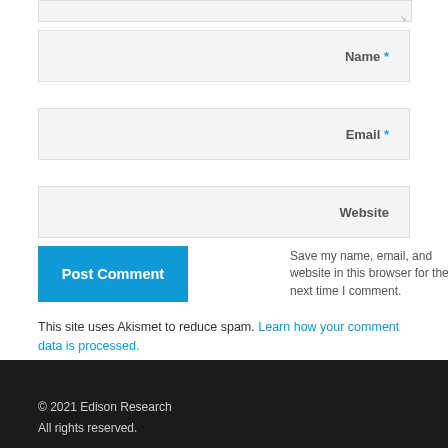[Figure (screenshot): Comment form with Name, Email, Website input fields, a checkbox for saving name/email/website, a Post Comment button, and an Akismet spam notice.]
Name *
Email *
Website
Save my name, email, and website in this browser for the next time I comment.
Post Comment
This site uses Akismet to reduce spam. Learn how your comment data is processed.
© 2021 Edison Research
All rights reserved.